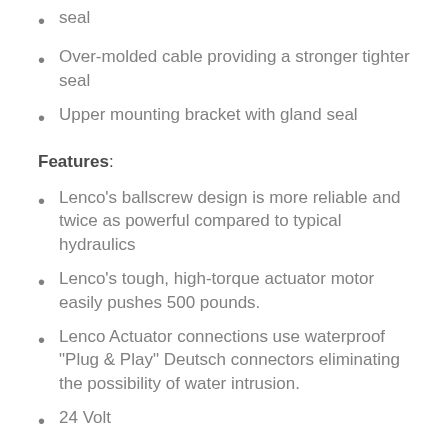seal
Over-molded cable providing a stronger tighter seal
Upper mounting bracket with gland seal
Features:
Lenco's ballscrew design is more reliable and twice as powerful compared to typical hydraulics
Lenco's tough, high-torque actuator motor easily pushes 500 pounds.
Lenco Actuator connections use waterproof "Plug & Play" Deutsch connectors eliminating the possibility of water intrusion.
24 Volt
5/16" mounting hardware
6 foot cable